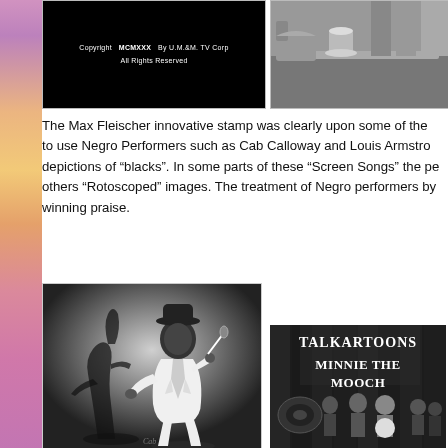[Figure (photo): Black screen with white text reading 'Copyright MCMXXX By U.M.&M. TV Corp All Rights Reserved']
[Figure (photo): Black and white image showing what appears to be a car or automotive scene]
The Max Fleischer innovative stamp was clearly upon some of the to use Negro Performers such as Cab Calloway and Louis Armstro depictions of "blacks". In some parts of these "Screen Songs" the pe others "Rotoscoped" images. The treatment of Negro performers by winning praise.
[Figure (photo): Black and white photo of a performer in a white suit dancing or performing expressively with dramatic shadow behind them]
[Figure (photo): Black and white film still showing 'Talkartoons - Minnie the Moocher' title card with musicians in background]